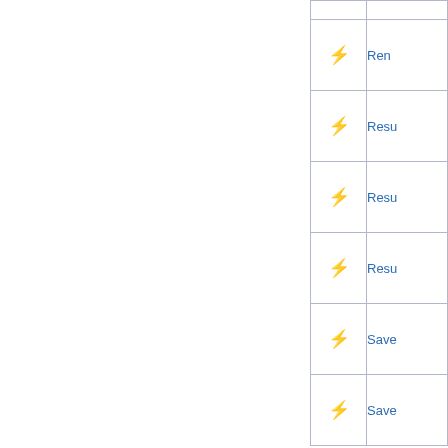| Icon | Label |
| --- | --- |
| ⚡ | Ren… |
| ⚡ | Resu… |
| ⚡ | Resu… |
| ⚡ | Resu… |
| ⚡ | Save… |
| ⚡ | Save… |